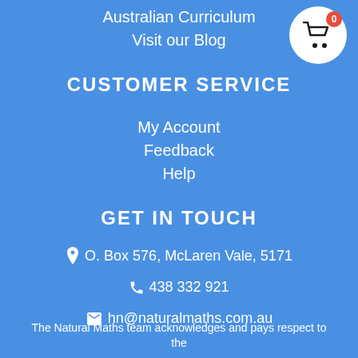Australian Curriculum
Visit our Blog
[Figure (other): Shopping cart icon button with red badge showing 0]
CUSTOMER SERVICE
My Account
Feedback
Help
GET IN TOUCH
O. Box 576, McLaren Vale, 5171
438 332 921
hn@naturalmaths.com.au
The Natural Maths team acknowledges and pays respect to the